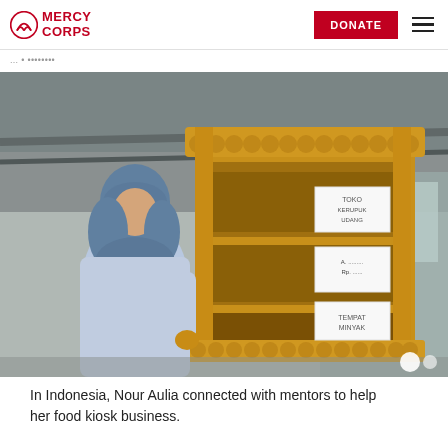MERCY CORPS
[Figure (photo): A woman wearing a blue hijab and light blue top stands next to a wooden food kiosk/stall with a decorative scalloped roof, located in what appears to be a market or commercial area in Indonesia.]
In Indonesia, Nour Aulia connected with mentors to help her food kiosk business.